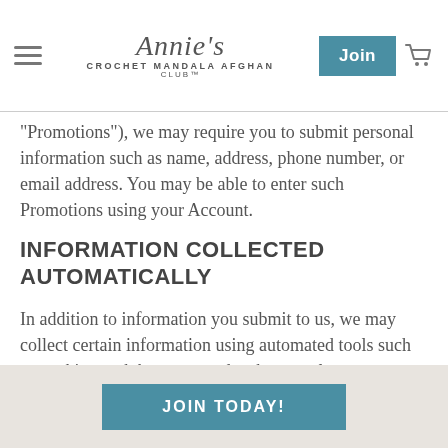Annie's Crochet Mandala Afghan Club™
"Promotions"), we may require you to submit personal information such as name, address, phone number, or email address. You may be able to enter such Promotions using your Account.
INFORMATION COLLECTED AUTOMATICALLY
In addition to information you submit to us, we may collect certain information using automated tools such as cookies, web beacons, and web server logs (collectively "Tracking Technologies"). The types of information we collect automatically may
JOIN TODAY!